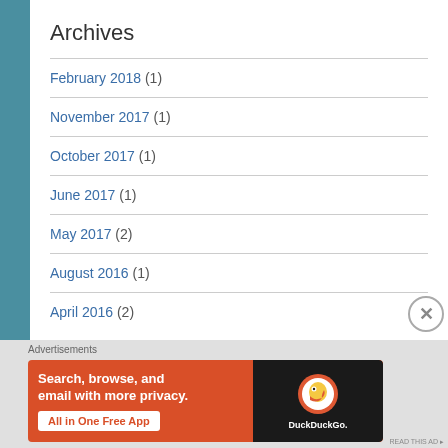Archives
February 2018 (1)
November 2017 (1)
October 2017 (1)
June 2017 (1)
May 2017 (2)
August 2016 (1)
April 2016 (2)
Advertisements
[Figure (photo): DuckDuckGo advertisement banner: orange background with text 'Search, browse, and email with more privacy. All in One Free App' and a phone mockup showing DuckDuckGo logo]